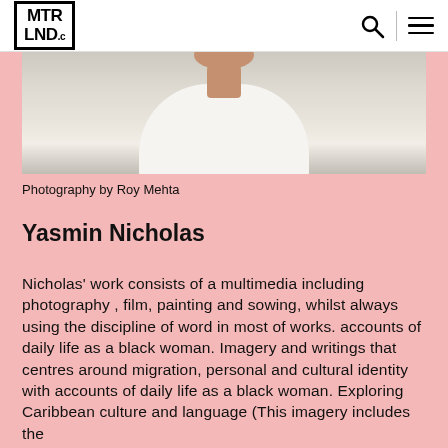MTR LND.c
[Figure (photo): Partial photo of a person wearing a white shirt, pink background, photography by Roy Mehta]
Photography by Roy Mehta
Yasmin Nicholas
Nicholas' work consists of a multimedia including photography , film, painting and sowing, whilst always using the discipline of word in most of works. accounts of daily life as a black woman. Imagery and writings that centres around migration, personal and cultural identity with accounts of daily life as a black woman. Exploring Caribbean culture and language (This imagery includes the